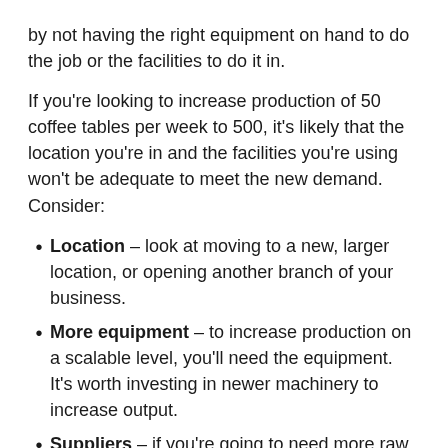by not having the right equipment on hand to do the job or the facilities to do it in.
If you're looking to increase production of 50 coffee tables per week to 500, it's likely that the location you're in and the facilities you're using won't be adequate to meet the new demand. Consider:
Location – look at moving to a new, larger location, or opening another branch of your business.
More equipment – to increase production on a scalable level, you'll need the equipment. It's worth investing in newer machinery to increase output.
Suppliers – if you're going to need more raw materials to produce what you're selling, make sure suppliers can meet the increased demand. If not, find one that can.
Tracking customers, building relationships